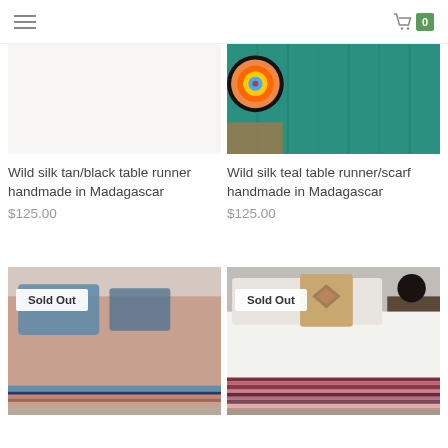Navigation header with hamburger menu and shopping cart (0 items)
Wild silk tan/black table runner handmade in Madagascar
$125.00
[Figure (photo): Wild silk teal table runner/scarf with colorful bowl on teal fabric]
Wild silk teal table runner/scarf handmade in Madagascar
$125.00
[Figure (photo): Salmon/pink bed spread with blue stripe at bottom, Sold Out badge]
[Figure (photo): White bed with striped blanket/runner in purple/red tones and patterned pillows, Sold Out badge]